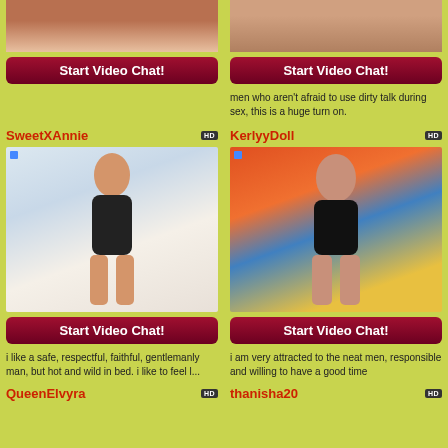[Figure (photo): Top partial photo left - person with red hair]
[Figure (photo): Top partial photo right - cropped torso]
Start Video Chat!
Start Video Chat!
men who aren't afraid to use dirty talk during sex, this is a huge turn on.
SweetXAnnie
KerlyyDoll
[Figure (photo): SweetXAnnie - young woman in black bikini making peace sign]
[Figure (photo): KerlyyDoll - woman in black top in front of colorful abstract painting]
Start Video Chat!
Start Video Chat!
i like a safe, respectful, faithful, gentlemanly man, but hot and wild in bed. i like to feel l...
i am very attracted to the neat men, responsible and willing to have a good time
QueenElvyra
thanisha20